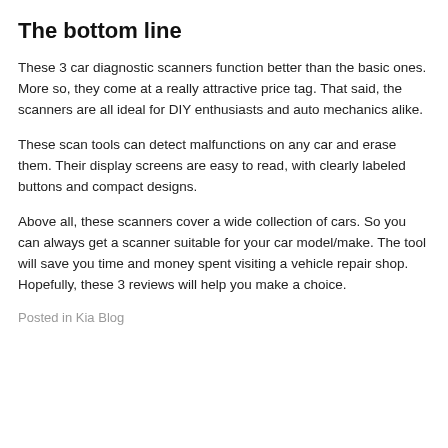The bottom line
These 3 car diagnostic scanners function better than the basic ones. More so, they come at a really attractive price tag. That said, the scanners are all ideal for DIY enthusiasts and auto mechanics alike.
These scan tools can detect malfunctions on any car and erase them. Their display screens are easy to read, with clearly labeled buttons and compact designs.
Above all, these scanners cover a wide collection of cars. So you can always get a scanner suitable for your car model/make. The tool will save you time and money spent visiting a vehicle repair shop. Hopefully, these 3 reviews will help you make a choice.
Posted in Kia Blog